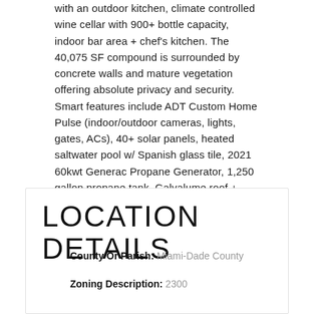with an outdoor kitchen, climate controlled wine cellar with 900+ bottle capacity, indoor bar area + chef’s kitchen. The 40,075 SF compound is surrounded by concrete walls and mature vegetation offering absolute privacy and security. Smart features include ADT Custom Home Pulse (indoor/outdoor cameras, lights, gates, ACs), 40+ solar panels, heated saltwater pool w/ Spanish glass tile, 2021 60kwt Generac Propane Generator, 1,250 gallon propane tank, Galvalume roof + PGT impact doors and windows. Furniture, accessories and artwork available for purchase.
LOCATION DETAILS
County Or Parish: Miami-Dade County
Zoning Description: 2300